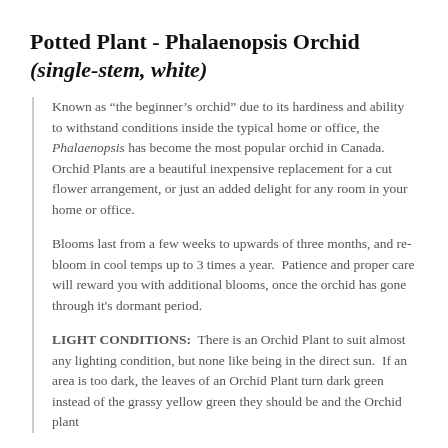Potted Plant - Phalaenopsis Orchid (single-stem, white)
Known as “the beginner’s orchid” due to its hardiness and ability to withstand conditions inside the typical home or office, the Phalaenopsis has become the most popular orchid in Canada. Orchid Plants are a beautiful inexpensive replacement for a cut flower arrangement, or just an added delight for any room in your home or office.
Blooms last from a few weeks to upwards of three months, and re-bloom in cool temps up to 3 times a year. Patience and proper care will reward you with additional blooms, once the orchid has gone through it’s dormant period.
LIGHT CONDITIONS: There is an Orchid Plant to suit almost any lighting condition, but none like being in the direct sun. If an area is too dark, the leaves of an Orchid Plant turn dark green instead of the grassy yellow green they should be and the Orchid plant